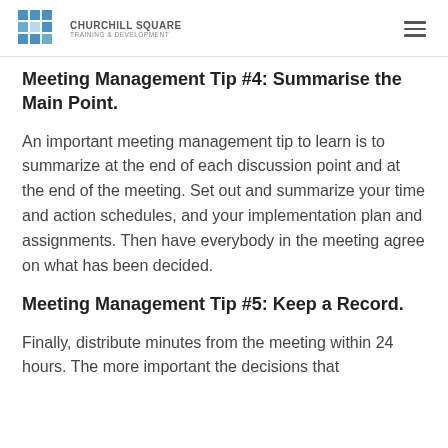Churchill Square Training & Development
Meeting Management Tip #4: Summarise the Main Point.
An important meeting management tip to learn is to summarize at the end of each discussion point and at the end of the meeting.  Set out and summarize your time and action schedules, and your implementation plan and assignments.  Then have everybody in the meeting agree on what has been decided.
Meeting Management Tip #5: Keep a Record.
Finally, distribute minutes from the meeting within 24 hours. The more important the decisions that